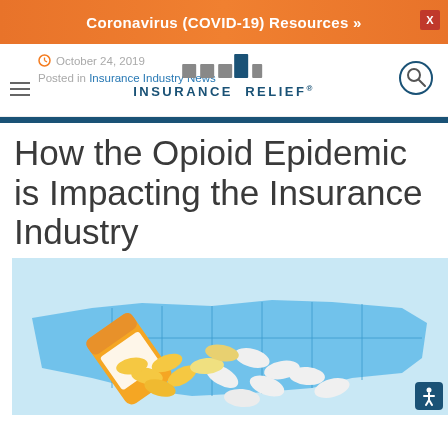Coronavirus (COVID-19) Resources »
October 24, 2019
Posted in Insurance Industry News
[Figure (logo): Insurance Relief logo with colored squares and company name]
How the Opioid Epidemic is Impacting the Insurance Industry
[Figure (photo): Orange prescription pill bottle spilling yellow and white opioid pills onto a blue US map cutout]